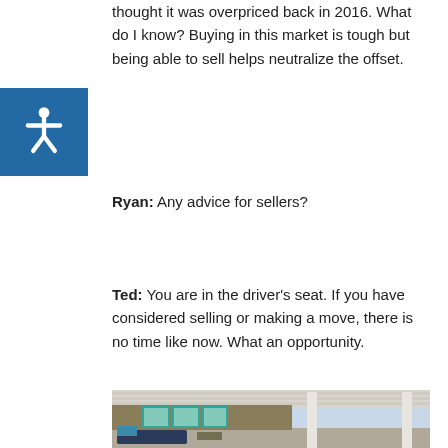thought it was overpriced back in 2016. What do I know? Buying in this market is tough but being able to sell helps neutralize the offset.
Ryan: Any advice for sellers?
Ted: You are in the driver's seat. If you have considered selling or making a move, there is no time like now. What an opportunity.
[Figure (photo): Outdoor patio area of a mid-century modern home with teal/turquoise French doors, dark navy lounge furniture with teal pillows, white pergola/roof structure, and wooden dining chairs visible in the background under the covered patio.]